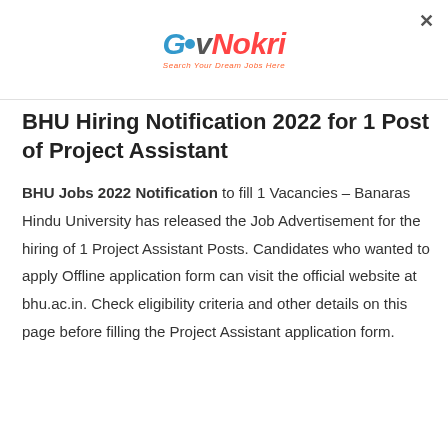GovNokri — Search Your Dream Jobs Here
BHU Hiring Notification 2022 for 1 Post of Project Assistant
BHU Jobs 2022 Notification to fill 1 Vacancies – Banaras Hindu University has released the Job Advertisement for the hiring of 1 Project Assistant Posts. Candidates who wanted to apply Offline application form can visit the official website at bhu.ac.in. Check eligibility criteria and other details on this page before filling the Project Assistant application form.